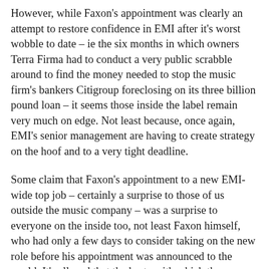However, while Faxon's appointment was clearly an attempt to restore confidence in EMI after it's worst wobble to date – ie the six months in which owners Terra Firma had to conduct a very public scrabble around to find the money needed to stop the music firm's bankers Citigroup foreclosing on its three billion pound loan – it seems those inside the label remain very much on edge. Not least because, once again, EMI's senior management are having to create strategy on the hoof and to a very tight deadline.
Some claim that Faxon's appointment to a new EMI-wide top job – certainly a surprise to those of us outside the music company – was a surprise to everyone on the inside too, not least Faxon himself, who had only a few days to consider taking on the new role before his appointment was announced to the world. It's alleged that the haste with which the appointment was made was partly because Terra